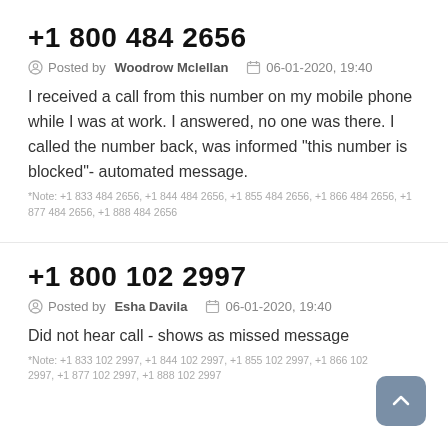+1 800 484 2656
Posted by Woodrow Mclellan   06-01-2020, 19:40
I received a call from this number on my mobile phone while I was at work. I answered, no one was there. I called the number back, was informed "this number is blocked"- automated message.
*Note: +1 833 484 2656, +1 844 484 2656, +1 855 484 2656, +1 866 484 2656, +1 877 484 2656, +1 888 484 2656
+1 800 102 2997
Posted by Esha Davila   06-01-2020, 19:40
Did not hear call - shows as missed message
*Note: +1 833 102 2997, +1 844 102 2997, +1 855 102 2997, +1 866 102 2997, +1 877 102 2997, +1 888 102 2997